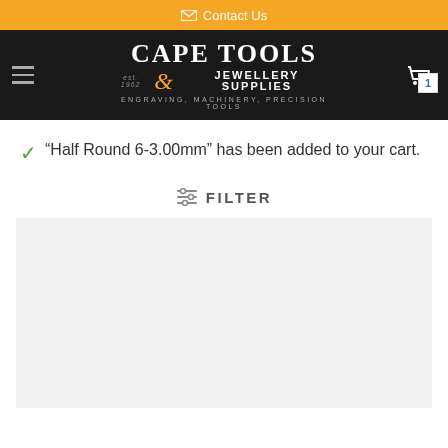Contact Us
[Figure (logo): Cape Tools & Jewellery Supplies logo with tagline: Engraving, Machinery, Precision Tools]
"Half Round 6-3.00mm" has been added to your cart.
FILTER
[Figure (other): Gray content/product area placeholder]